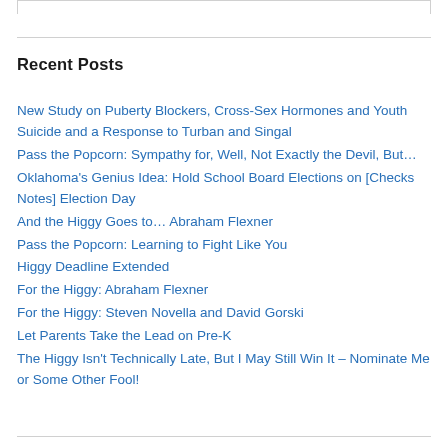Recent Posts
New Study on Puberty Blockers, Cross-Sex Hormones and Youth Suicide and a Response to Turban and Singal
Pass the Popcorn: Sympathy for, Well, Not Exactly the Devil, But…
Oklahoma's Genius Idea: Hold School Board Elections on [Checks Notes] Election Day
And the Higgy Goes to… Abraham Flexner
Pass the Popcorn: Learning to Fight Like You
Higgy Deadline Extended
For the Higgy: Abraham Flexner
For the Higgy: Steven Novella and David Gorski
Let Parents Take the Lead on Pre-K
The Higgy Isn't Technically Late, But I May Still Win It – Nominate Me or Some Other Fool!